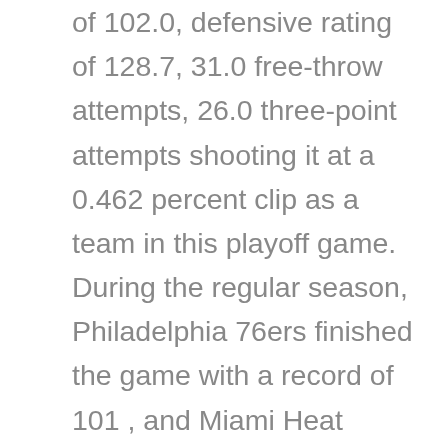of 102.0, defensive rating of 128.7, 31.0 free-throw attempts, 26.0 three-point attempts shooting it at a 0.462 percent clip as a team in this playoff game. During the regular season, Philadelphia 76ers finished the game with a record of 101 , and Miami Heat recorded Philadelphia 76ers possessions throughout the course of the basketball game. Evaluating Philadelphia 76ers vs Miami Heat's based on the advanced stats, Philadelphia 76ers had a better score in the effective shooting percentage category with 0.568 percent, Philadelphia 76ers had a better score in terms of turnover percentage with 10.9 vs 17.8.
The most impactful players on each team in